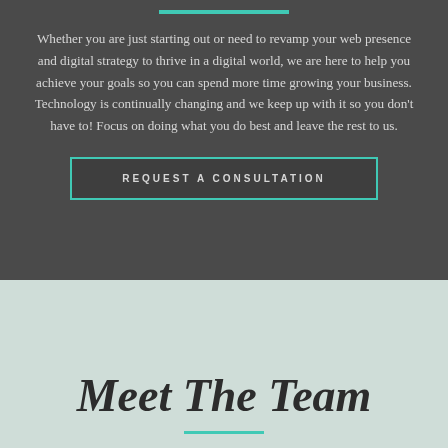Whether you are just starting out or need to revamp your web presence and digital strategy to thrive in a digital world, we are here to help you achieve your goals so you can spend more time growing your business. Technology is continually changing and we keep up with it so you don't have to! Focus on doing what you do best and leave the rest to us.
REQUEST A CONSULTATION
Meet The Team